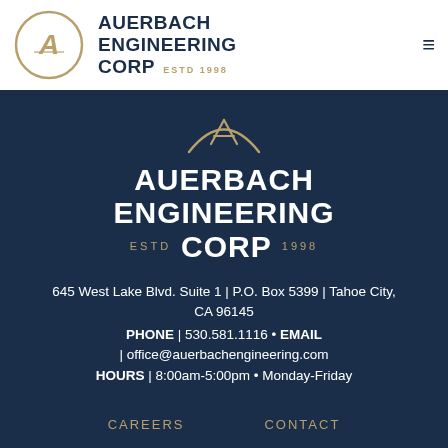[Figure (logo): Auerbach Engineering Corp circular logo with stylized A lettermark in gold on white background, and company name header text to the right]
[Figure (logo): Auerbach Engineering Corp large centered logo with partial circle arc and stylized A mark in gold, with AUERBACH ENGINEERING CORP text and ESTD 1998]
645 West Lake Blvd. Suite 1 | P.O. Box 5399 | Tahoe City, CA 96145
PHONE | 530.581.1116 • EMAIL | office@auerbachengineering.com
HOURS | 8:00am-5:00pm • Monday-Friday
CAREERS    CONTACT